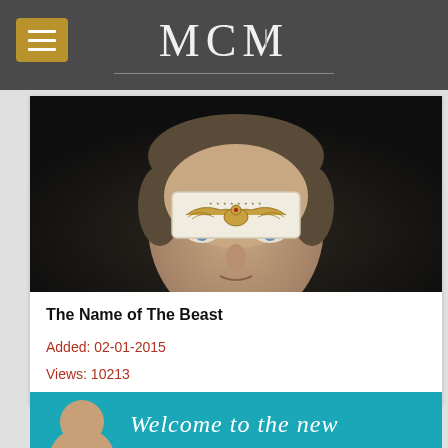MCM
[Figure (photo): Close-up photo of a man looking upward with a decorative bandage/patch on his forehead featuring a gold eagle/phoenix emblem. Dark dramatic background.]
The Name of The Beast
Added: 02-01-2015
Views: 10213
[Figure (photo): Partial image of a bald man against a teal/turquoise background with cursive text 'Welcome to the new']